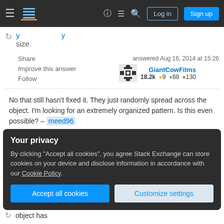Stack Exchange navigation bar with Log in and Sign up buttons
size.
Share
Improve this answer
Follow
answered Aug 16, 2014 at 15:26
GiantCowFilms
18.2k ● 9 ● 69 ● 130
No that still hasn't fixed it. They just randomly spread across the object. I'm looking for an extremely organized pattern. Is this even possible? – meed96
Aug 16, 2014 at 17:17
Add a comment
Your privacy
By clicking "Accept all cookies", you agree Stack Exchange can store cookies on your device and disclose information in accordance with our Cookie Policy.
Accept all cookies
Customize settings
object has